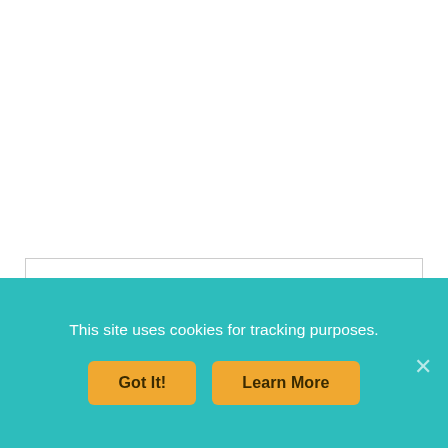Get Access to the FREE Resource Library!
This site uses cookies for tracking purposes.
Got It!
Learn More